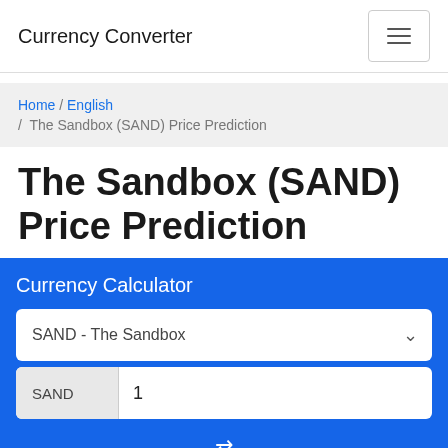Currency Converter
Home / English / The Sandbox (SAND) Price Prediction
The Sandbox (SAND) Price Prediction
Currency Calculator
SAND - The Sandbox
SAND  1